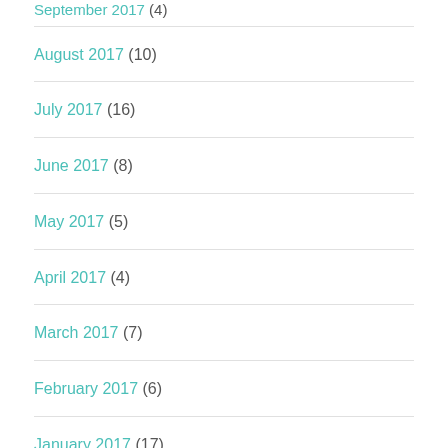September 2017 (4)
August 2017 (10)
July 2017 (16)
June 2017 (8)
May 2017 (5)
April 2017 (4)
March 2017 (7)
February 2017 (6)
January 2017 (17)